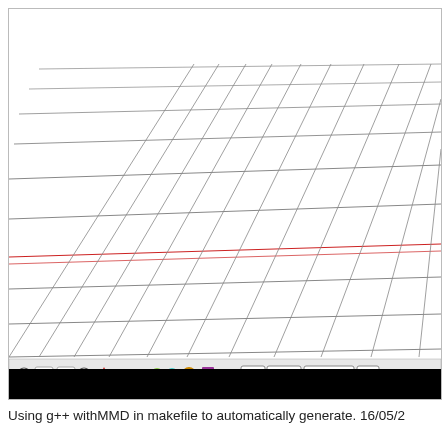[Figure (screenshot): A 3D perspective grid (wireframe floor/ground plane) rendered in a MMD (MikuMikuDance) or similar 3D application. The grid consists of dark gray lines on a white background forming a perspective-distorted tile pattern. A red horizontal line runs across the middle of the grid. At the bottom of the viewport there is a toolbar with icons including radio buttons, a green square, a beige/orange square, a red triangle, text buttons, colored spheres, icons for Mb and I93 modes, a mode dropdown, and a 正 button. Below the toolbar is a solid black status/info bar.]
Using g++ withMMD in makefile to automatically generate. 16/05/2